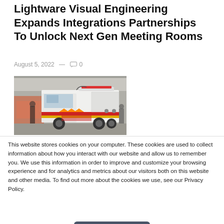Lightware Visual Engineering Expands Integrations Partnerships To Unlock Next Gen Meeting Rooms
August 5, 2022  —  💬 0
[Figure (photo): A white fire truck with red and yellow stripes parked inside a garage or showroom. Several people visible in the background.]
This website stores cookies on your computer. These cookies are used to collect information about how you interact with our website and allow us to remember you. We use this information in order to improve and customize your browsing experience and for analytics and metrics about our visitors both on this website and other media. To find out more about the cookies we use, see our Privacy Policy.
Accept